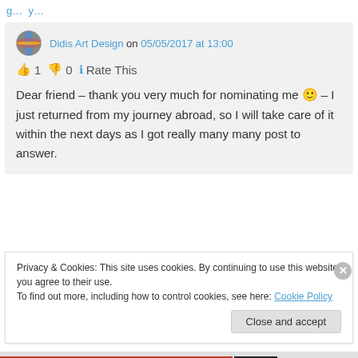g… y…
Didis Art Design on 05/05/2017 at 13:00
👍 1 👎 0 ℹ Rate This
Dear friend – thank you very much for nominating me 🙂 – I just returned from my journey abroad, so I will take care of it within the next days as I got really many many post to answer.
Privacy & Cookies: This site uses cookies. By continuing to use this website, you agree to their use.
To find out more, including how to control cookies, see here: Cookie Policy